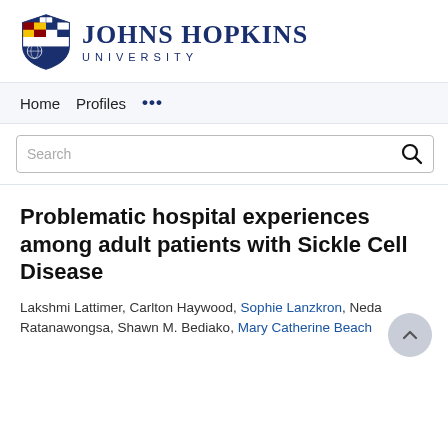[Figure (logo): Johns Hopkins University logo with shield and text]
Home   Profiles   ...
Search
Problematic hospital experiences among adult patients with Sickle Cell Disease
Lakshmi Lattimer, Carlton Haywood, Sophie Lanzkron, Neda Ratanawongsa, Shawn M. Bediako, Mary Catherine Beach